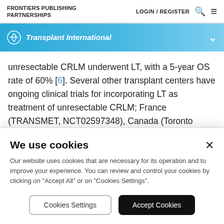FRONTIERS PUBLISHING PARTNERSHIPS   LOGIN / REGISTER
Transplant International
unresectable CRLM underwent LT, with a 5-year OS rate of 60% [6]. Several other transplant centers have ongoing clinical trials for incorporating LT as treatment of unresectable CRLM; France (TRANSMET, NCT02597348), Canada (Toronto Protocol, NCT02864485), Germany (LIVERT (W)
We use cookies
Our website uses cookies that are necessary for its operation and to improve your experience. You can review and control your cookies by clicking on "Accept All" or on "Cookies Settings".
Cookies Settings   Accept Cookies